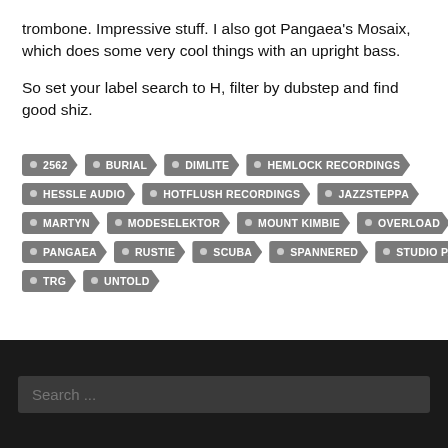trombone. Impressive stuff. I also got Pangaea's Mosaix, which does some very cool things with an upright bass.
So set your label search to H, filter by dubstep and find good shiz.
2562, BURIAL, DIMLITE, HEMLOCK RECORDINGS, HESSLE AUDIO, HOTFLUSH RECORDINGS, JAZZSTEPPA, MARTYN, MODESELEKTOR, MOUNT KIMBIE, OVERLOAD, PANGAEA, RUSTIE, SCUBA, SPANNERED, STUDIO PANKOW, TRG, UNTOLD
Search ...